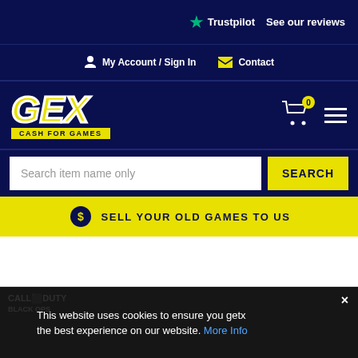[Figure (logo): Trustpilot star logo and 'See our reviews' text on dark navy background]
My Account / Sign In
Contact
[Figure (logo): GEX Cash For Games logo - yellow block letters on dark navy background]
[Figure (other): Shopping cart icon with yellow badge showing 0 and hamburger menu icon]
Search item name only
SEARCH
SELL YOUR OLD GAMES TO US
This website uses cookies to ensure you get the best experience on our website. More Info
[Figure (screenshot): Call of Duty Black Ops game banner image visible at bottom]